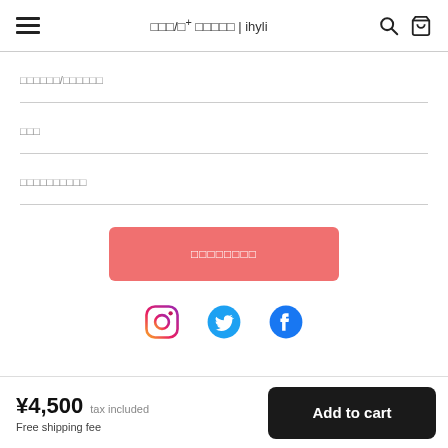≡  □□□/□⁺ □□□□□ | ihyli  🔍  🛒
□□□□□□/□□□□□□
□□□
□□□□□□□□□□
[Figure (other): Red/salmon colored button with Japanese text □□□□□□□□]
[Figure (other): Social media icons: Instagram, Twitter, Facebook]
¥4,500 tax included  Free shipping fee  Add to cart